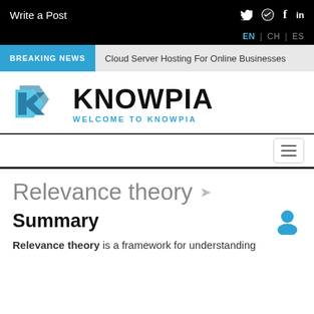Write a Post
EN | CH | ES
BREAKING NEWS   Cloud Server Hosting For Online Businesses
[Figure (logo): Knowpia logo: blue geometric K shape with KNOWPIA text and WELCOME TO KNOWPIA subtitle]
Relevance theory
Summary
Relevance theory is a framework for understanding